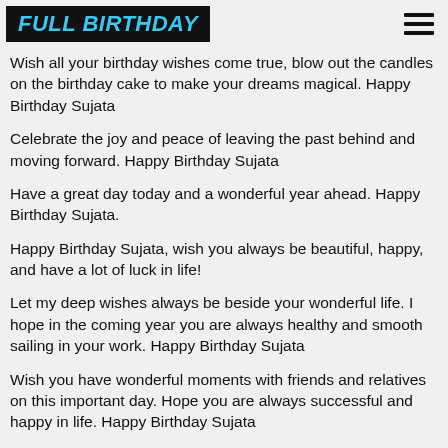FULL BIRTHDAY
Wish all your birthday wishes come true, blow out the candles on the birthday cake to make your dreams magical. Happy Birthday Sujata
Celebrate the joy and peace of leaving the past behind and moving forward. Happy Birthday Sujata
Have a great day today and a wonderful year ahead. Happy Birthday Sujata.
Happy Birthday Sujata, wish you always be beautiful, happy, and have a lot of luck in life!
Let my deep wishes always be beside your wonderful life. I hope in the coming year you are always healthy and smooth sailing in your work. Happy Birthday Sujata
Wish you have wonderful moments with friends and relatives on this important day. Hope you are always successful and happy in life. Happy Birthday Sujata
Happy birthday to you, bless all the best will...